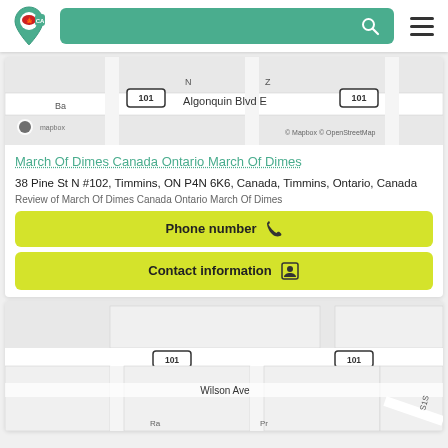Navigation bar with logo, search, and menu
[Figure (map): Partial street map showing Algonquin Blvd E with route 101 markers]
March Of Dimes Canada Ontario March Of Dimes
38 Pine St N #102, Timmins, ON P4N 6K6, Canada, Timmins, Ontario, Canada
Review of March Of Dimes Canada Ontario March Of Dimes
Phone number
Contact information
[Figure (map): Street map showing Wilson Ave with route 101 markers and city blocks]